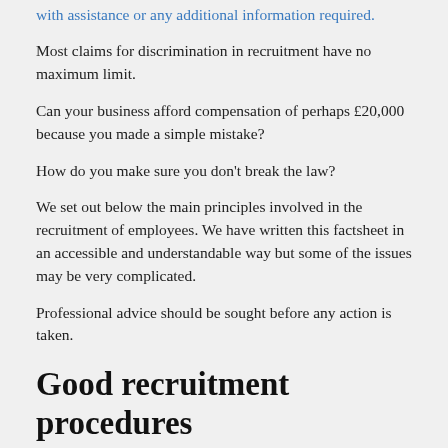with assistance or any additional information required.
Most claims for discrimination in recruitment have no maximum limit.
Can your business afford compensation of perhaps £20,000 because you made a simple mistake?
How do you make sure you don't break the law?
We set out below the main principles involved in the recruitment of employees. We have written this factsheet in an accessible and understandable way but some of the issues may be very complicated.
Professional advice should be sought before any action is taken.
Good recruitment procedures
Employers recruiting staff can make simple but very expensive